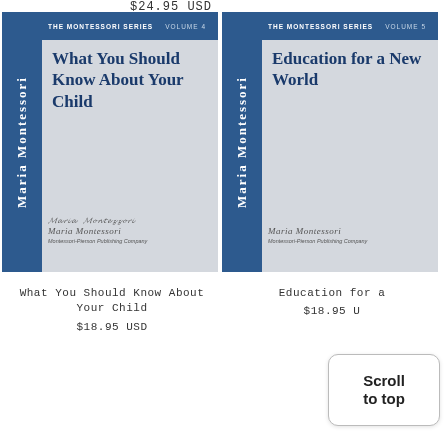$24.95 USD
[Figure (illustration): Book cover for 'What You Should Know About Your Child' – The Montessori Series Volume 4 by Maria Montessori, Montessori-Pierson Publishing Company. Gray cover with dark blue spine and header.]
[Figure (illustration): Book cover for 'Education for a New World' – The Montessori Series Volume 5 by Maria Montessori, Montessori-Pierson Publishing Company. Gray cover with dark blue spine and header.]
What You Should Know About Your Child
$18.95 USD
Education for a
$18.95 U
Scroll to top